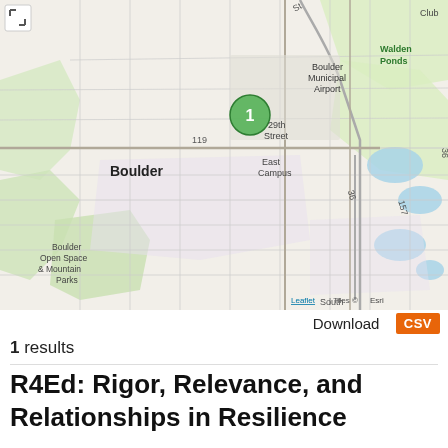[Figure (map): Street/terrain map of Boulder, Colorado area showing Boulder Municipal Airport, Walden Ponds, Boulder Open Space & Mountain Parks, East Campus, 29th Street, and surrounding roads. A green circle marker labeled '1' is placed near the airport. Map attribution: Leaflet | Tiles © Esri.]
Download CSV
1 results
R4Ed: Rigor, Relevance, and Relationships in Resilience